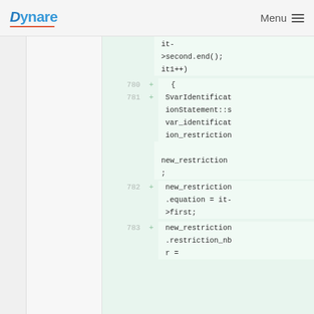Dynare   Menu
[Figure (screenshot): Code diff view showing lines 780-783 with additions (+) in green background. Code content: continuation of 'it->second.end(); it1++)', line 780: '{', line 781: 'SvarIdentificationStatement::svar_identification_restriction new_restriction;', line 782: 'new_restriction.equation = it->first;', line 783: 'new_restriction.restriction_nbr =']